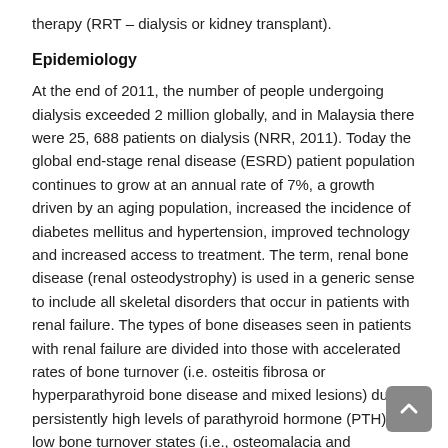therapy (RRT – dialysis or kidney transplant).
Epidemiology
At the end of 2011, the number of people undergoing dialysis exceeded 2 million globally, and in Malaysia there were 25, 688 patients on dialysis (NRR, 2011). Today the global end-stage renal disease (ESRD) patient population continues to grow at an annual rate of 7%, a growth driven by an aging population, increased the incidence of diabetes mellitus and hypertension, improved technology and increased access to treatment. The term, renal bone disease (renal osteodystrophy) is used in a generic sense to include all skeletal disorders that occur in patients with renal failure. The types of bone diseases seen in patients with renal failure are divided into those with accelerated rates of bone turnover (i.e. osteitis fibrosa or hyperparathyroid bone disease and mixed lesions) due to persistently high levels of parathyroid hormone (PTH) and low bone turnover states (i.e., osteomalacia and adynamic lesions) due to aluminium toxicity or relatively low levels of PTH. Some studies showed that high turnover bone disease is the predominant lesion in patients treated with haemodialysis (50 to 60%) whereas low